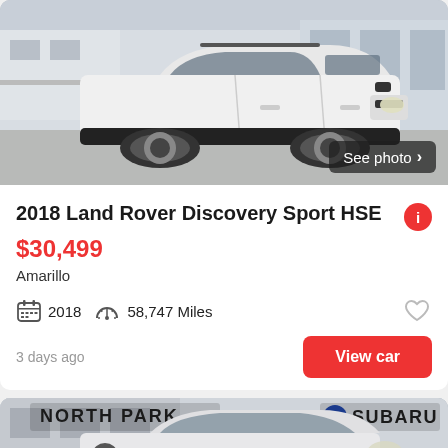[Figure (photo): White 2018 Land Rover Discovery Sport HSE photographed in a car dealership lot, front three-quarter view. Background shows dealership building.]
2018 Land Rover Discovery Sport HSE
$30,499
Amarillo
2018  58,747 Miles
3 days ago
View car
[Figure (photo): White Land Rover Discovery Sport at North Park Subaru dealership, front view. Sign reads NORTH PARK and SUBARU. See photo button visible.]